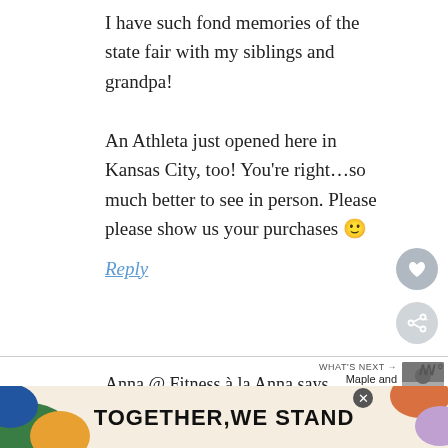I have such fond memories of the state fair with my siblings and grandpa!

An Athleta just opened here in Kansas City, too! You’re right…so much better to see in person. Please please show us your purchases 🙂
Reply
Anna @ Fitness à la Anna says
October 25, 2013 at 12:18 pm
[Figure (screenshot): TOGETHER WE STAND advertisement banner at the bottom of the page with colorful abstract shapes and a close button]